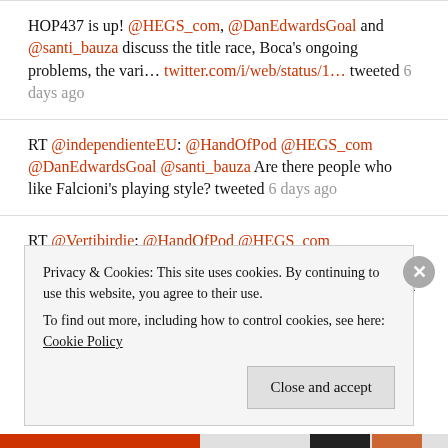HOP437 is up! @HEGS_com, @DanEdwardsGoal and @santi_bauza discuss the title race, Boca's ongoing problems, the vari... twitter.com/i/web/status/1... tweeted 6 days ago
RT @independienteEU: @HandOfPod @HEGS_com @DanEdwardsGoal @santi_bauza Are there people who like Falcioni's playing style? tweeted 6 days ago
RT @Vertibirdie: @HandOfPod @HEGS_com @DanEdwardsGoal @santi_bauza I assume I'm late, but want your take on this. What do you think about t... tweeted 6 days ago
Privacy & Cookies: This site uses cookies. By continuing to use this website, you agree to their use. To find out more, including how to control cookies, see here: Cookie Policy